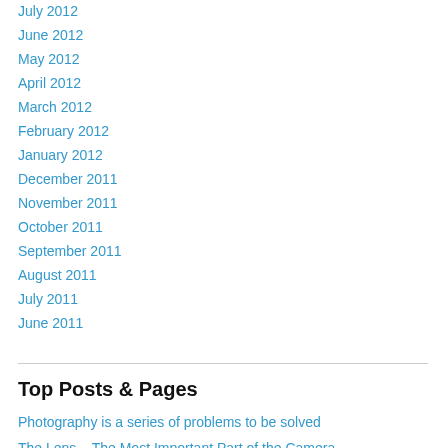July 2012
June 2012
May 2012
April 2012
March 2012
February 2012
January 2012
December 2011
November 2011
October 2011
September 2011
August 2011
July 2011
June 2011
Top Posts & Pages
Photography is a series of problems to be solved
The Lens – The Most Important Part of the Camera